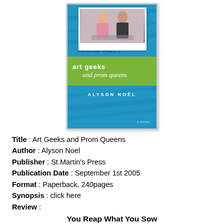[Figure (illustration): Book cover of 'Art Geeks and Prom Queens' by Alyson Noël. Blue background with diagonal streaks, a polaroid-style photo of two girls at the top, a green band with the title text, and the author's name at the bottom. Tagline reads 'From the author of Faking 19'. Subtitle 'A NOVEL'.]
Title : Art Geeks and Prom Queens
Author : Alyson Noel
Publisher : St.Martin's Press
Publication Date : September 1st 2005
Format : Paperback, 240pages
Synopsis : click here
Review :
You Reap What You Sow
Rio Jones is a new kid from New York. She's got her